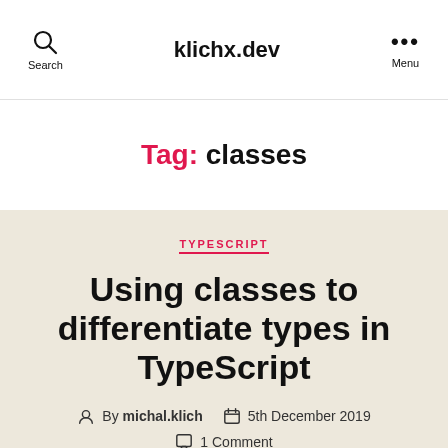Search   klichx.dev   Menu
Tag: classes
TYPESCRIPT
Using classes to differentiate types in TypeScript
By michal.klich   5th December 2019   1 Comment